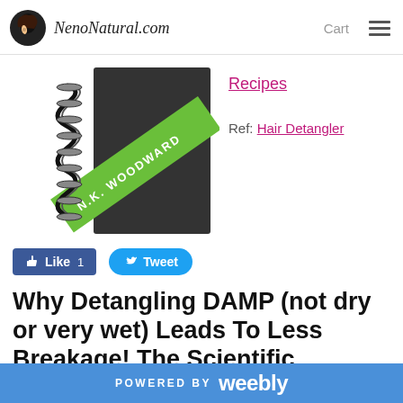NenoNatural.com   Cart
[Figure (illustration): Book cover with spiral/coil illustration and green diagonal banner reading 'N.K. WOODWARD']
Recipes
Ref: Hair Detangler
[Figure (other): Facebook Like button (Like 1) and Twitter Tweet button]
Why Detangling DAMP (not dry or very wet) Leads To Less Breakage! The Scientific Explanation.
10/1/2014
POWERED BY weebly